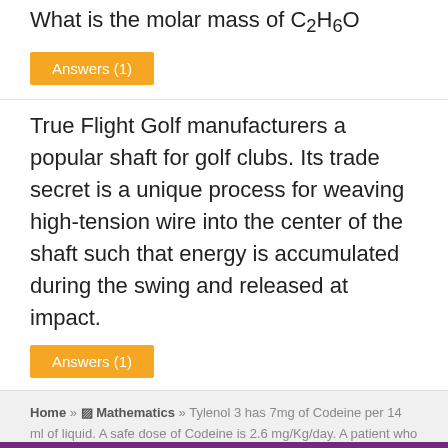What is the molar mass of C2H6O
Answers (1)
True Flight Golf manufacturers a popular shaft for golf clubs. Its trade secret is a unique process for weaving high-tension wire into the center of the shaft such that energy is accumulated during the swing and released at impact.
Answers (1)
Home » ▨ Mathematics » Tylenol 3 has 7mg of Codeine per 14 ml of liquid. A safe dose of Codeine is 2.6 mg/Kg/day. A patient who weighs 200 pounds needs a Tylenol 3 prescription. There are 2.2 pounds for every 1 kilogram. Round all answers to the nearest 10th.